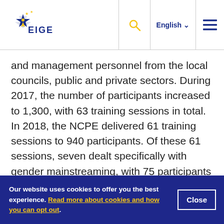EIGE | English
and management personnel from the local councils, public and private sectors. During 2017, the number of participants increased to 1,300, with 63 training sessions in total. In 2018, the NCPE delivered 61 training sessions to 940 participants. Of these 61 sessions, seven dealt specifically with gender mainstreaming, with 75 participants attending. In view of the forthcoming legislation, more training is expected to be scheduled in 2019.
Our website uses cookies to offer you the best experience. Read more about cookies and how you can opt out.